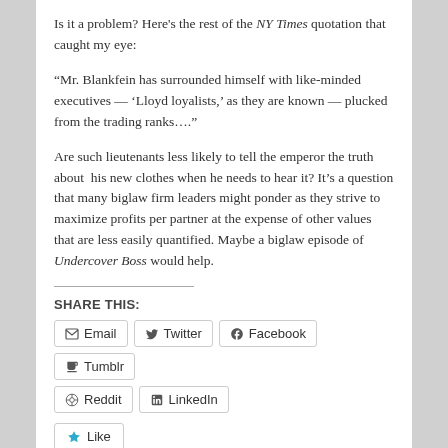Is it a problem? Here's the rest of the NY Times quotation that caught my eye:
“Mr. Blankfein has surrounded himself with like-minded executives — ‘Lloyd loyalists,’ as they are known — plucked from the trading ranks….”
Are such lieutenants less likely to tell the emperor the truth about  his new clothes when he needs to hear it? It’s a question that many biglaw firm leaders might ponder as they strive to maximize profits per partner at the expense of other values that are less easily quantified. Maybe a biglaw episode of Undercover Boss would help.
SHARE THIS:
Email
Twitter
Facebook
Tumblr
Reddit
LinkedIn
Like